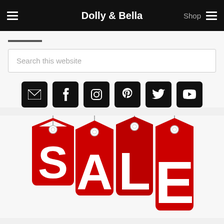Dolly & Bella
[Figure (screenshot): Search this website input field]
[Figure (infographic): Social media icon buttons: email, Facebook, Instagram, Pinterest, Twitter, YouTube]
[Figure (illustration): Four red hanging sale tags with letters S, A, L, E spelling SALE in white]